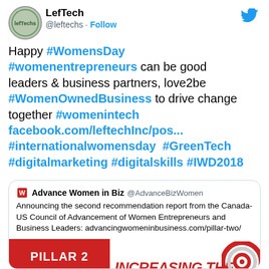[Figure (screenshot): Twitter/X post by LefTech (@leftechs) with avatar logo and blue Twitter bird icon in header]
LefTech @leftechs · Follow
Happy #WomensDay #womenentrepreneurs can be good leaders & business partners, love2be #WomenOwnedBusiness to drive change together #womenintech facebook.com/leftechInc/pos... #internationalwomensday  #GreenTech #digitalmarketing #digitalskills #IWD2018
Advance Women in Biz @AdvanceBizWomen
Announcing the second recommendation report from the Canada-US Council of Advancement of Women Entrepreneurs and Business Leaders: advancingwomeninbusiness.com/pillar-two/
[Figure (infographic): Pillar 2 infographic showing red banner with PILLAR 2 text and INCREASING THE text in red below, with target/bullseye icon on the right]